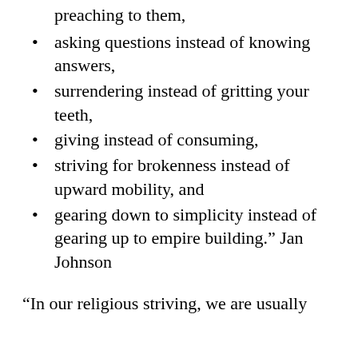preaching to them,
asking questions instead of knowing answers,
surrendering instead of gritting your teeth,
giving instead of consuming,
striving for brokenness instead of upward mobility, and
gearing down to simplicity instead of gearing up to empire building.” Jan Johnson
“In our religious striving, we are usually